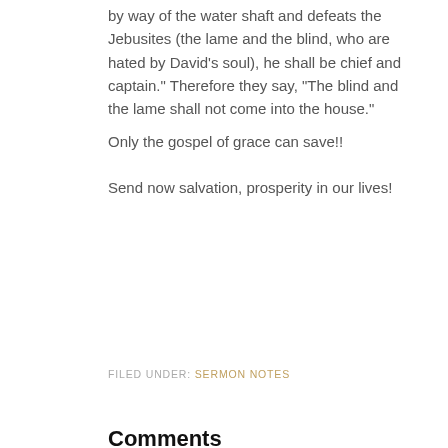by way of the water shaft and defeats the Jebusites (the lame and the blind, who are hated by David's soul), he shall be chief and captain." Therefore they say, "The blind and the lame shall not come into the house."
Only the gospel of grace can save!!

Send now salvation, prosperity in our lives!
FILED UNDER: SERMON NOTES
Comments
Ivy says
March 20, 2016 at 8:12 pm